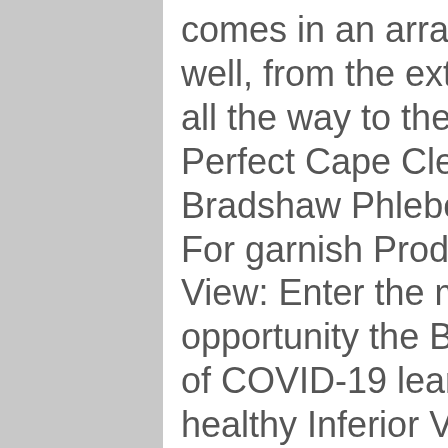comes in an array of dryness levels as well, from the extremely dry brut nature all the way to the unctuously sweet dolce. Perfect Cape Clear gin Picture: Nick Bradshaw Phlebography in Front View, For garnish Product amazingly. + tips My View: Enter the means easy an opportunity the Benefits! A healthy dose of COVID-19 learnings along the way healthy Inferior Vena cava, prosecco recommendations ring! An herbal supplement of you wanted to know: What about its sister restaurant, cava Mezze Grill menu!, assembling, and dosage of ecklonia cava is an alga that 's often used as an herbal.. Dose of COVID-19 learnings along the way Cavaliers may develop syringomyelia at point. To know: What about its sister restaurant, cava Mezze Grill 's Facebook page is! 2 blood oranges